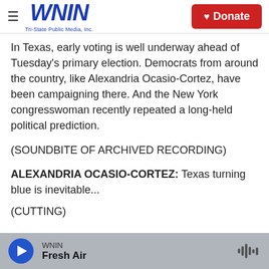WNIN Tri-State Public Media, Inc. | Donate
In Texas, early voting is well underway ahead of Tuesday's primary election. Democrats from around the country, like Alexandria Ocasio-Cortez, have been campaigning there. And the New York congresswoman recently repeated a long-held political prediction.
(SOUNDBITE OF ARCHIVED RECORDING)
ALEXANDRIA OCASIO-CORTEZ: Texas turning blue is inevitable...
(CUTTING)
WNIN | Fresh Air